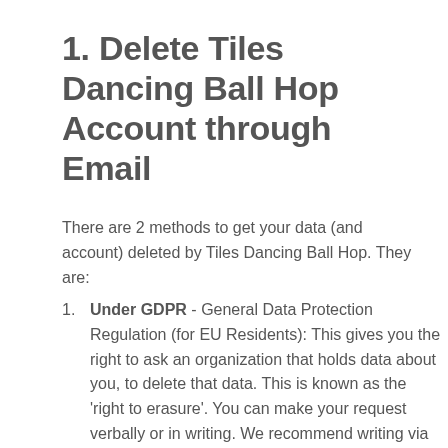1. Delete Tiles Dancing Ball Hop Account through Email
There are 2 methods to get your data (and account) deleted by Tiles Dancing Ball Hop. They are:
Under GDPR - General Data Protection Regulation (for EU Residents): This gives you the right to ask an organization that holds data about you, to delete that data. This is known as the 'right to erasure'. You can make your request verbally or in writing. We recommend writing via email, to serve as evidence. An organization has one calendar month to respond to your request.
Under CCPA - California Consumer Privacy Act: This empowers California residents to request that a